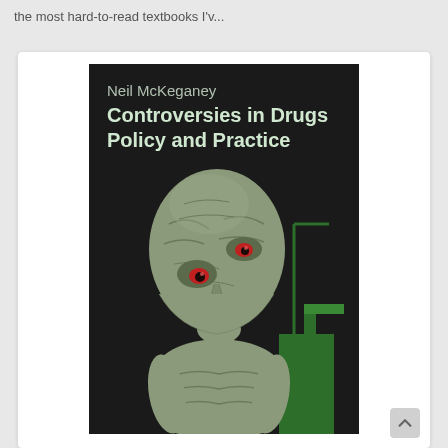the most hard-to-read textbooks I'v...
[Figure (illustration): Book cover of 'Controversies in Drugs Policy and Practice' by Neil McKeganey. Dark background with a distorted figurative painting of a gaunt human figure with an elongated head and red eyes. Title text in white/teal at the top.]